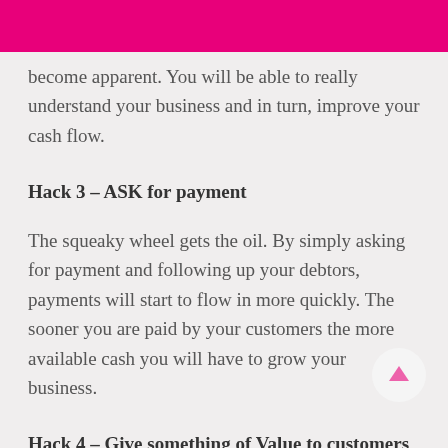become apparent. You will be able to really understand your business and in turn, improve your cash flow.
Hack 3 – ASK for payment
The squeaky wheel gets the oil. By simply asking for payment and following up your debtors, payments will start to flow in more quickly. The sooner you are paid by your customers the more available cash you will have to grow your business.
Hack 4 – Give something of Value to customers who pay on time